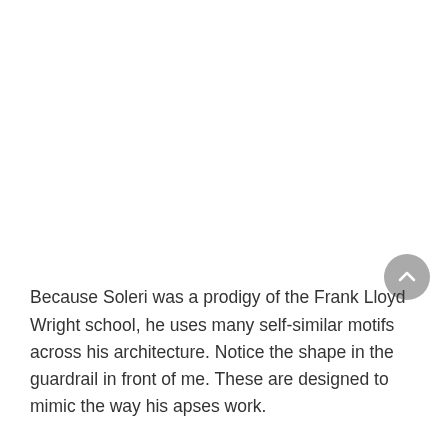Because Soleri was a prodigy of the Frank Lloyd Wright school, he uses many self-similar motifs across his architecture. Notice the shape in the guardrail in front of me. These are designed to mimic the way his apses work.